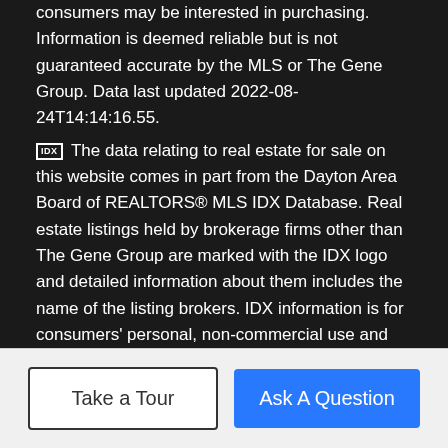consumers may be interested in purchasing. Information is deemed reliable but is not guaranteed accurate by the MLS or The Gene Group. Data last updated 2022-08-24T14:14:16.55.
IDX The data relating to real estate for sale on this website comes in part from the Dayton Area Board of REALTORS® MLS IDX Database. Real estate listings held by brokerage firms other than The Gene Group are marked with the IDX logo and detailed information about them includes the name of the listing brokers. IDX information is for consumers' personal, non-commercial use and may not be used for any purpose other than to identify prospective properties consumers may be interested in purchasing. Information Deemed Reliable But Not Guaranteed. Data last updated 2022-08-24T14:03:57.94.
BoomTown! © 2022
Terms of Use | Privacy Policy | Accessibility | DMCA | Listings Sitemap
Take a Tour
Ask A Question